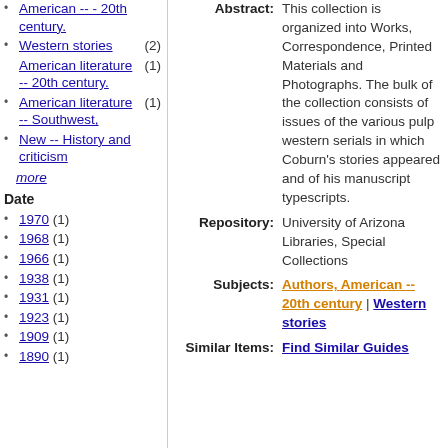American -- 20th century.
Western stories (2)
American literature -- 20th century. (1)
American literature -- Southwest, (1)
New -- History and criticism
more
Date
1970 (1)
1968 (1)
1966 (1)
1938 (1)
1931 (1)
1923 (1)
1909 (1)
1890 (1)
Abstract: This collection is organized into Works, Correspondence, Printed Materials and Photographs. The bulk of the collection consists of issues of the various pulp western serials in which Coburn's stories appeared and of his manuscript typescripts.
Repository: University of Arizona Libraries, Special Collections
Subjects: Authors, American -- 20th century | Western stories
Similar Items: Find Similar Guides